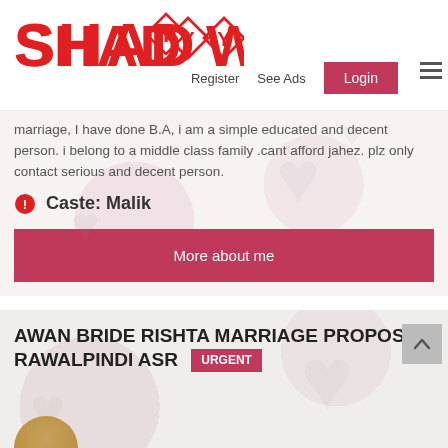[Figure (logo): Shadywady logo in red text with diamond shapes around the Y letters]
Register   See Ads   Login
marriage, I have done B.A, i am a simple educated and decent person. i belong to a middle class family .cant afford jahez. plz only contact serious and decent person.
Caste: Malik
More about me
AWAN BRIDE RISHTA MARRIAGE PROPOSAL RAWALPINDI ASR URGENT